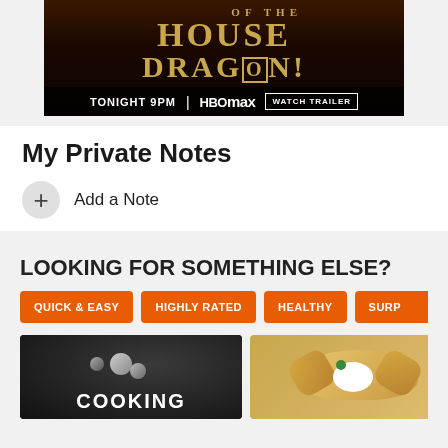[Figure (screenshot): House of the Dragon advertisement banner. Text: 'HOUSE OF THE DRAGON! TONIGHT 9PM | HBOmax WATCH TRAILER']
My Private Notes
+ Add a Note
LOOKING FOR SOMETHING ELSE?
QUICK & EASY
HIGHLY RATED
HEALTHY
SURP…
[Figure (photo): Dark background with metallic spheres and 'COOKING' text overlay]
[Figure (photo): Food image showing what appears to be bread or pastry with garnish]